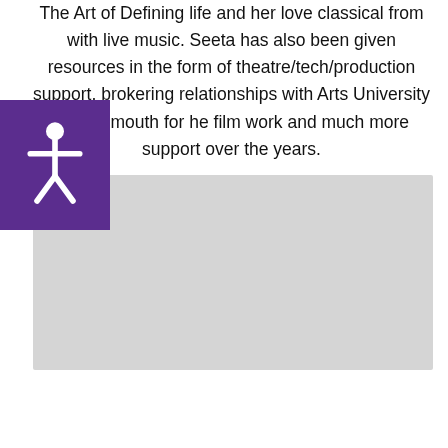The Art of Defining life and her love classical from with live music. Seeta has also been given resources in the form of theatre/tech/production support, brokering relationships with Arts University Bournemouth for he film work and much more support over the years.
[Figure (photo): A large light grey rectangular image placeholder]